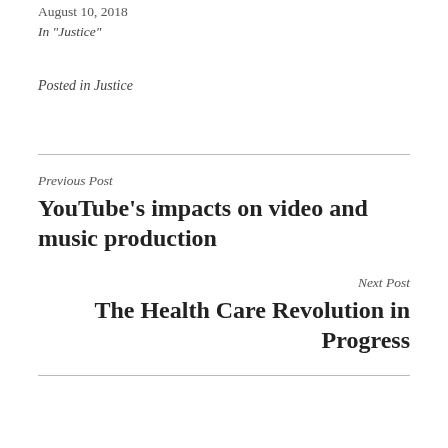August 10, 2018
In "Justice"
Posted in Justice
Previous Post
YouTube's impacts on video and music production
Next Post
The Health Care Revolution in Progress